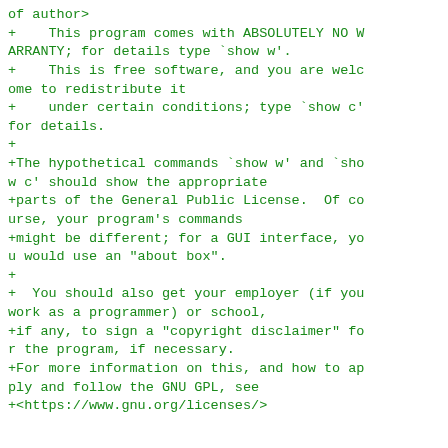of author>
+    This program comes with ABSOLUTELY NO WARRANTY; for details type `show w'.
+    This is free software, and you are welcome to redistribute it
+    under certain conditions; type `show c' for details.
+
+The hypothetical commands `show w' and `show c' should show the appropriate
+parts of the General Public License.  Of course, your program's commands
+might be different; for a GUI interface, you would use an "about box".
+
+  You should also get your employer (if you work as a programmer) or school,
+if any, to sign a "copyright disclaimer" for the program, if necessary.
+For more information on this, and how to apply and follow the GNU GPL, see
+<https://www.gnu.org/licenses/>